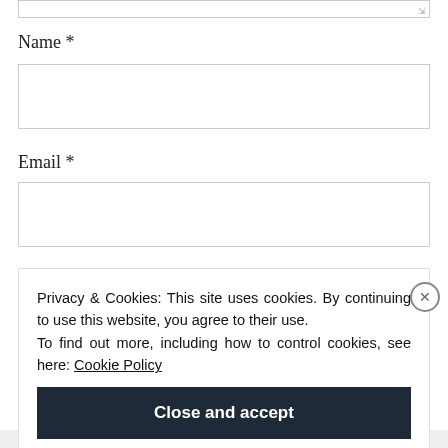Name *
[Figure (screenshot): Empty text input field for Name]
Email *
[Figure (screenshot): Empty text input field for Email]
Privacy & Cookies: This site uses cookies. By continuing to use this website, you agree to their use. To find out more, including how to control cookies, see here: Cookie Policy
Close and accept